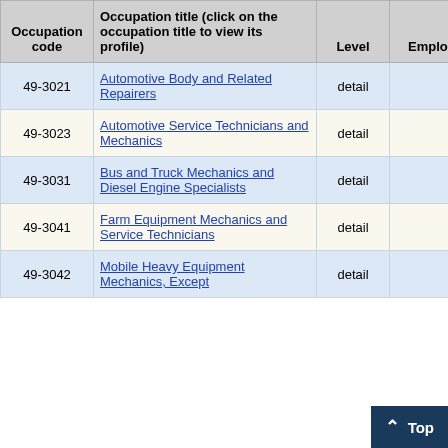| Occupation code | Occupation title (click on the occupation title to view its profile) | Level | Employment | Employment RSE |
| --- | --- | --- | --- | --- |
| 49-3021 | Automotive Body and Related Repairers | detail | 140 | 17... |
| 49-3023 | Automotive Service Technicians and Mechanics | detail | 360 | 12... |
| 49-3031 | Bus and Truck Mechanics and Diesel Engine Specialists | detail | 150 | 12... |
| 49-3041 | Farm Equipment Mechanics and Service Technicians | detail | 330 | 12... |
| 49-3042 | Mobile Heavy Equipment Mechanics, Except... | detail | 16... |  |